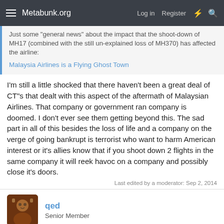Metabunk.org   Log in   Register
Just some "general news" about the impact that the shoot-down of MH17 (combined with the still un-explained loss of MH370) has affected the airline:
Malaysia Airlines is a Flying Ghost Town
I'm still a little shocked that there haven't been a great deal of CT"s that dealt with this aspect of the aftermath of Malaysian Airlines. That company or government ran company is doomed. I don't ever see them getting beyond this. The sad part in all of this besides the loss of life and a company on the verge of going bankrupt is terrorist who want to harm American interest or it's allies know that if you shoot down 2 flights in the same company it will reek havoc on a company and possibly close it's doors.
Last edited by a moderator: Sep 2, 2014
qed
Senior Member
Sep 4, 2014   #70